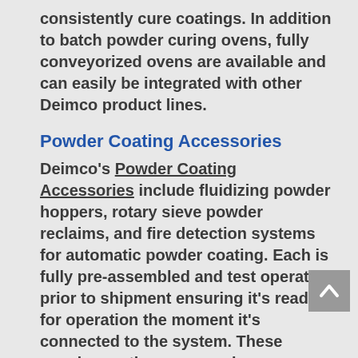consistently cure coatings. In addition to batch powder curing ovens, fully conveyorized ovens are available and can easily be integrated with other Deimco product lines.
Powder Coating Accessories
Deimco's Powder Coating Accessories include fluidizing powder hoppers, rotary sieve powder reclaims, and fire detection systems for automatic powder coating. Each is fully pre-assembled and test operated prior to shipment ensuring it's ready for operation the moment it's connected to the system. These powder coating accessories are available for integration with Deimco's numerous powder coating equipment offerings or as standalone units.